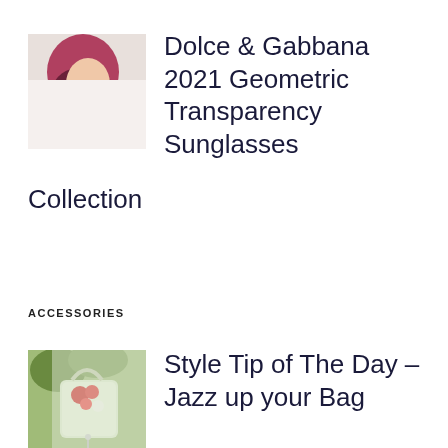[Figure (photo): Woman with pink/magenta bob haircut wearing geometric sunglasses, profile view, white top]
Dolce & Gabbana 2021 Geometric Transparency Sunglasses Collection
ACCESSORIES
[Figure (photo): A white/light tote bag decorated with red flowers, outdoor setting]
Style Tip of The Day – Jazz up your Bag